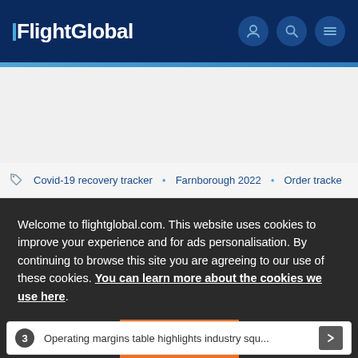[Figure (logo): FlightGlobal website header with dark navy background, FlightGlobal logo in white, user icon, search icon, and menu icon on the right]
[Figure (screenshot): Light gray advertisement space area below the header blue stripe]
Covid-19 recovery tracker · Farnborough 2022 · Order tracker
Welcome to flightglobal.com. This website uses cookies to improve your experience and for ads personalisation. By continuing to browse this site you are agreeing to our use of these cookies. You can learn more about the cookies we use here.
OK
3 Operating margins table highlights industry squ...